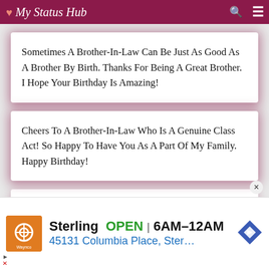My Status Hub
Sometimes A Brother-In-Law Can Be Just As Good As A Brother By Birth. Thanks For Being A Great Brother. I Hope Your Birthday Is Amazing!
Cheers To A Brother-In-Law Who Is A Genuine Class Act! So Happy To Have You As A Part Of My Family. Happy Birthday!
[Figure (screenshot): Advertisement banner for Sterling restaurant showing orange logo, 'Sterling OPEN 6AM-12AM', '45131 Columbia Place, Ster...' with navigation icon]